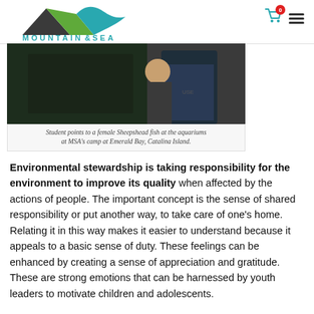Mountain & Sea Adventures — header with cart (0) and menu icons
[Figure (photo): Students pointing to a female Sheepshead fish at the aquariums at MSA's camp at Emerald Bay, Catalina Island.]
Student points to a female Sheepshead fish at the aquariums at MSA's camp at Emerald Bay, Catalina Island.
Environmental stewardship is taking responsibility for the environment to improve its quality when affected by the actions of people. The important concept is the sense of shared responsibility or put another way, to take care of one's home. Relating it in this way makes it easier to understand because it appeals to a basic sense of duty. These feelings can be enhanced by creating a sense of appreciation and gratitude. These are strong emotions that can be harnessed by youth leaders to motivate children and adolescents.